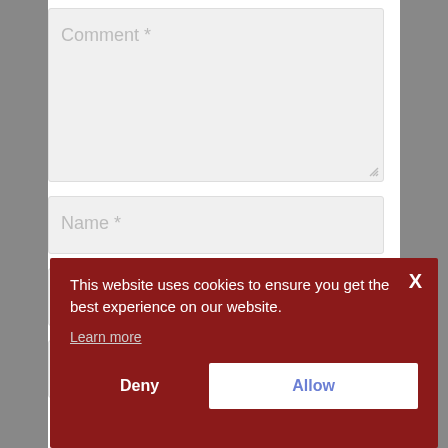[Figure (screenshot): A web form with a Comment textarea field (placeholder 'Comment *') and a Name input field (placeholder 'Name *') on a light gray background.]
This website uses cookies to ensure you get the best experience on our website.
Learn more
Deny
Allow